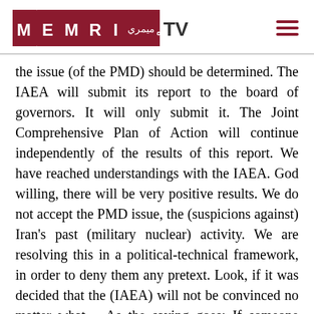MEMRI TV logo and navigation
the issue (of the PMD) should be determined. The IAEA will submit its report to the board of governors. It will only submit it. The Joint Comprehensive Plan of Action will continue independently of the results of this report. We have reached understandings with the IAEA. God willing, there will be very positive results. We do not accept the PMD issue, the (suspicions against) Iran's past (military nuclear) activity. We are resolving this in a political-technical framework, in order to deny them any pretext. Look, if it was decided that the (IAEA) will not be convinced no matter what... As the saying goes: If someone pretends to be asleep, you cannot wake him up. If someone does not want to be convinced...